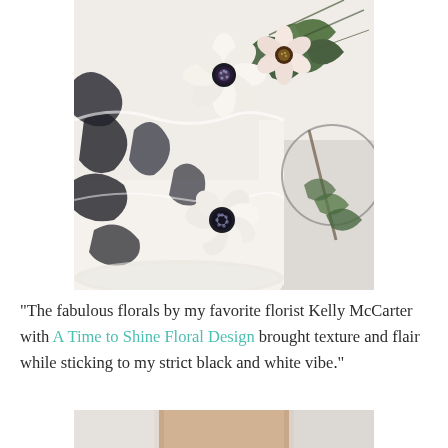[Figure (photo): Close-up photograph of a wedding cake decorated with black and white frosting, white anemone flowers with dark centers, and green foliage/eucalyptus. The cake has dark painted/marbled accents on white frosting. Several anemone flowers are visible along with greenery and a geometric metal circle decoration in the background.]
"The fabulous florals by my favorite florist Kelly McCarter with A Time to Shine Floral Design brought texture and flair while sticking to my strict black and white vibe."
[Figure (photo): Partial photo at the bottom of the page, appears to show a person's face/portrait, cropped.]